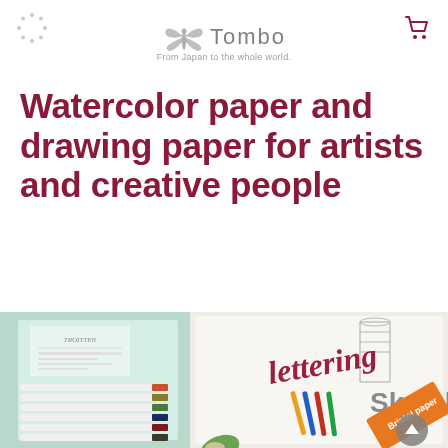Tombow — From Japan to the whole world.
Watercolor paper and drawing paper for artists and creative people
[Figure (photo): Photo showing art supplies: a mint-colored pencil case with white colored pencils and colored pencil tips, alongside a lettering/sketch pad with 'lettering' written in red calligraphy and a sketch of a landmark. The sketchpad label reads 'Bristol paper Sketch'. A green leaf is partially visible at the bottom.]